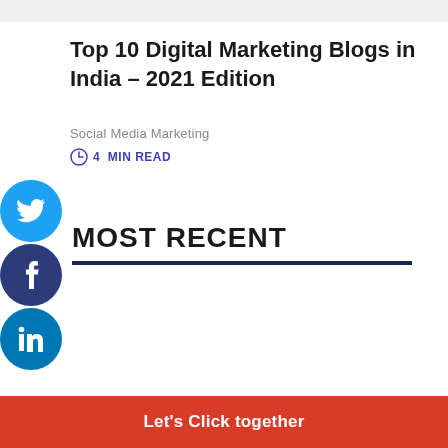Top 10 Digital Marketing Blogs in India – 2021 Edition
Social Media Marketing
4 MIN READ
[Figure (illustration): Social media share buttons: Twitter (blue circle), Facebook (dark blue circle), LinkedIn (blue circle), each with their respective icons in white]
MOST RECENT
Let's Click together